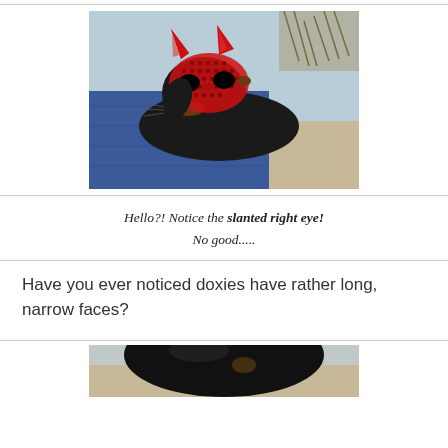[Figure (photo): A black dachshund dog wearing a red devil costume mask with small horns, resting on a person's denim-covered lap. Sandy beach background.]
Hello?! Notice the slanted right eye! No good.....
Have you ever noticed doxies have rather long, narrow faces?
[Figure (photo): Close-up of a black dachshund dog, partially cropped.]